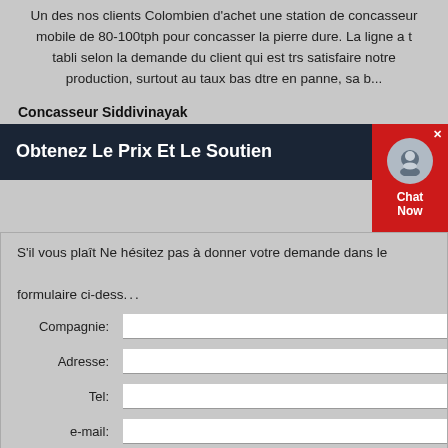Un des nos clients Colombien d'achet une station de concasseur mobile de 80-100tph pour concasser la pierre dure. La ligne a t tabli selon la demande du client qui est trs satisfaire notre production, surtout au taux bas dtre en panne, sa b...
Concasseur Siddivinayak
[Figure (screenshot): Dark navy banner with text 'Obtenez Le Prix Et Le Soutien' and a red chat widget on the right showing a support icon and 'Chat Now' label with a close (x) button.]
S'il vous plaît Ne hésitez pas à donner votre demande dans le formulaire ci-dess...
Compagnie:
Adresse:
Tel:
e-mail:
Prénom:
Station de Concasseur Mobile   Station de Co...
Produit:   Broyeur à Sable   Broyeur Industriel *